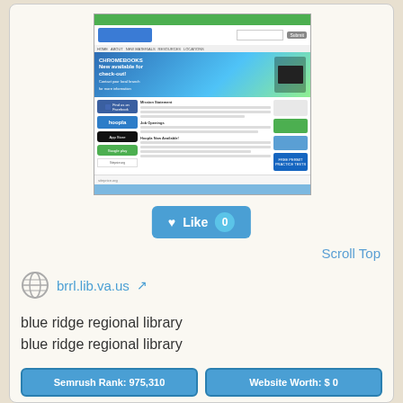[Figure (screenshot): Screenshot of brrl.lib.va.us - Blue Ridge Regional Library website showing the homepage with Chromebooks banner, hoopla sidebar, navigation menu, and content areas]
Like 0
Scroll Top
brrl.lib.va.us
blue ridge regional library
blue ridge regional library
Semrush Rank: 975,310
Website Worth: $ 0